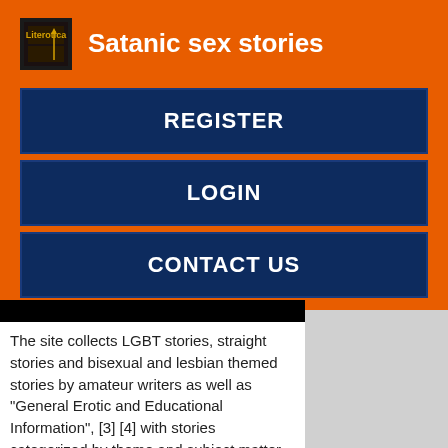Satanic sex stories
REGISTER
LOGIN
CONTACT US
The site collects LGBT stories, straight stories and bisexual and lesbian themed stories by amateur writers as well as "General Erotic and Educational Information", [3] [4] with stories categorized by theme and subject matter Permanently erect nipples as "first